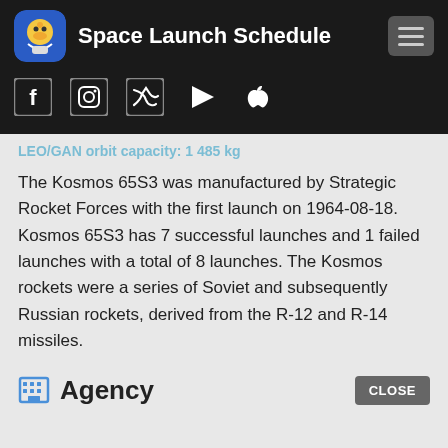Space Launch Schedule
LEO/GAN orbit capacity: 1 485 kg
The Kosmos 65S3 was manufactured by Strategic Rocket Forces with the first launch on 1964-08-18. Kosmos 65S3 has 7 successful launches and 1 failed launches with a total of 8 launches. The Kosmos rockets were a series of Soviet and subsequently Russian rockets, derived from the R-12 and R-14 missiles.
Agency